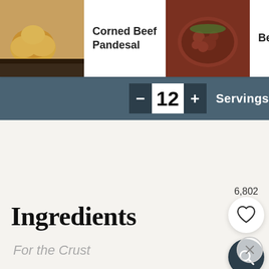[Figure (photo): Corned Beef Pandesal recipe card thumbnail - bread rolls on a pan]
Corned Beef Pandesal
[Figure (photo): Beef Pares recipe card thumbnail - braised beef in sauce]
Beef Pares
[Figure (photo): Filipino Beef Tapa recipe card thumbnail - tapa with fried egg and rice]
Filipino Beef Tapa
12 Servings
6,802
Ingredients
For the Crust